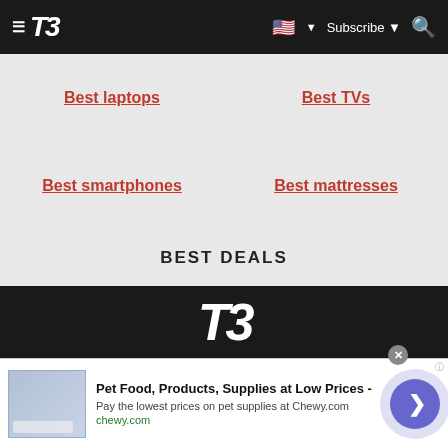T3 | Subscribe
Best laptops
Best TVs
Best smartphones
Best mattresses
BEST DEALS
Best phone deals
Best mattress deals
Best TV deals
Discount codes
[Figure (logo): T3 logo in white italic font on dark background]
[Figure (infographic): Advertisement banner: Pet Food, Products, Supplies at Low Prices - chewy.com]